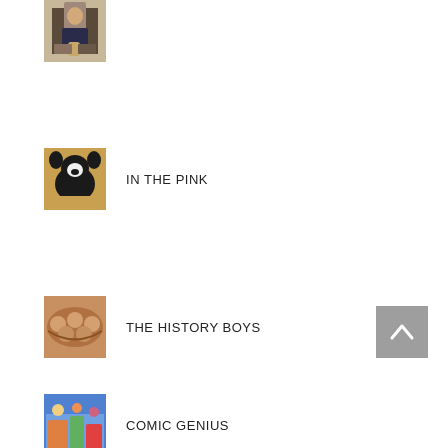[Figure (photo): Photo of a man sitting at a table holding a drink, pub setting]
[Figure (photo): Photo of a black pig or calf standing in straw]
IN THE PINK
[Figure (photo): Photo of items arranged in a decorative pattern, brown tones]
THE HISTORY BOYS
[Figure (illustration): Colorful illustrated image, comic scene]
COMIC GENIUS